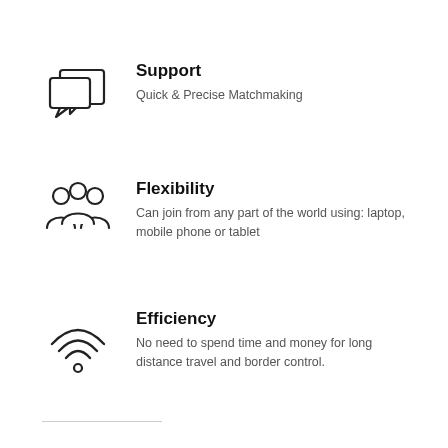[Figure (illustration): Chat/support icon: two overlapping speech bubbles]
Support
Quick & Precise Matchmaking
[Figure (illustration): Group of people/users icon representing flexibility]
Flexibility
Can join from any part of the world using: laptop, mobile phone or tablet
[Figure (illustration): WiFi signal icon representing efficiency]
Efficiency
No need to spend time and money for long distance travel and border control.